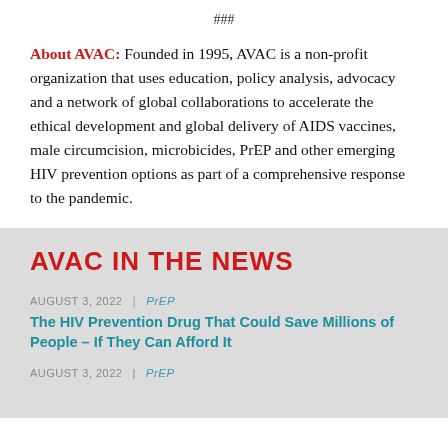###
About AVAC: Founded in 1995, AVAC is a non-profit organization that uses education, policy analysis, advocacy and a network of global collaborations to accelerate the ethical development and global delivery of AIDS vaccines, male circumcision, microbicides, PrEP and other emerging HIV prevention options as part of a comprehensive response to the pandemic.
AVAC IN THE NEWS
AUGUST 3, 2022  |  PrEP
The HIV Prevention Drug That Could Save Millions of People – If They Can Afford It
AUGUST 3, 2022  |  PrEP